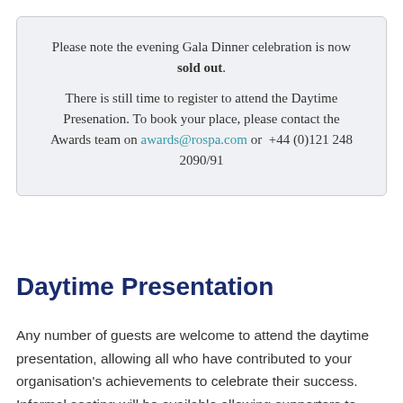Please note the evening Gala Dinner celebration is now sold out. There is still time to register to attend the Daytime Presenation. To book your place, please contact the Awards team on awards@rospa.com or +44 (0)121 248 2090/91
Daytime Presentation
Any number of guests are welcome to attend the daytime presentation, allowing all who have contributed to your organisation's achievements to celebrate their success. Informal seating will be available allowing supporters to watch proceedings while the nominated person is